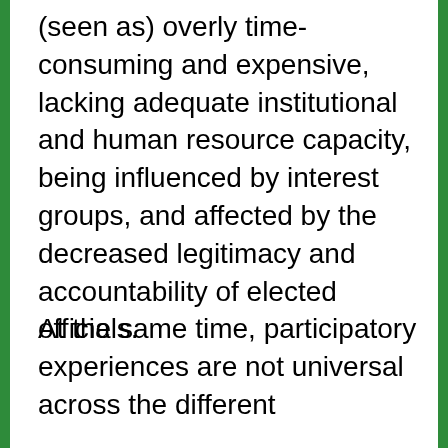(seen as) overly time-consuming and expensive, lacking adequate institutional and human resource capacity, being influenced by interest groups, and affected by the decreased legitimacy and accountability of elected officials.
At the same time, participatory experiences are not universal across the different